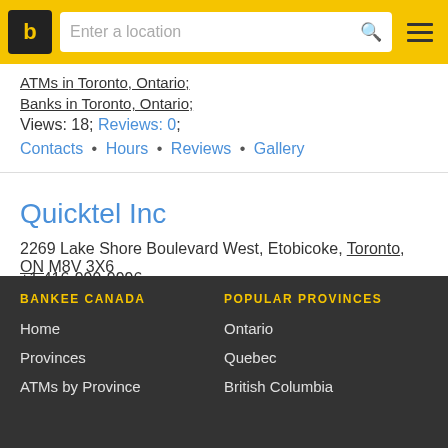b | Enter a location
ATMs in Toronto, Ontario;
Banks in Toronto, Ontario;
Views: 18; Reviews: 0;
Contacts • Hours • Reviews • Gallery
Quicktel Inc
2269 Lake Shore Boulevard West, Etobicoke, Toronto, ON M8V 3X6
+1 416-999-9996
ATMs in Toronto, Ontario;
Views: 17; Reviews: 0;
Contacts • Reviews • Gallery
BANKEE CANADA
Home
Provinces
ATMs by Province

POPULAR PROVINCES
Ontario
Quebec
British Columbia